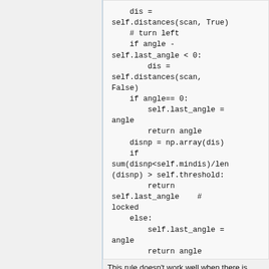[Figure (screenshot): Code block showing Python code snippet with self.distances calls, angle comparisons, disnp array operations, and return statements for last_angle logic]
This rule doesn't work well when there is